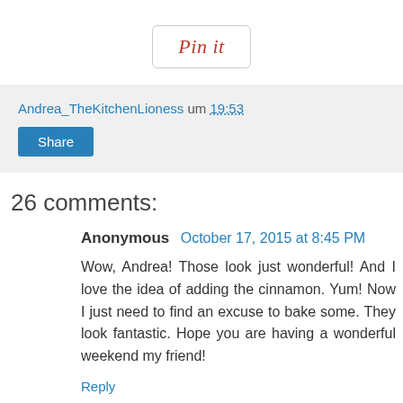[Figure (other): Pin it button with cursive red text inside a rounded rectangle border]
Andrea_TheKitchenLioness um 19:53
Share
26 comments:
Anonymous October 17, 2015 at 8:45 PM
Wow, Andrea! Those look just wonderful! And I love the idea of adding the cinnamon. Yum! Now I just need to find an excuse to bake some. They look fantastic. Hope you are having a wonderful weekend my friend!
Reply
▾ Replies